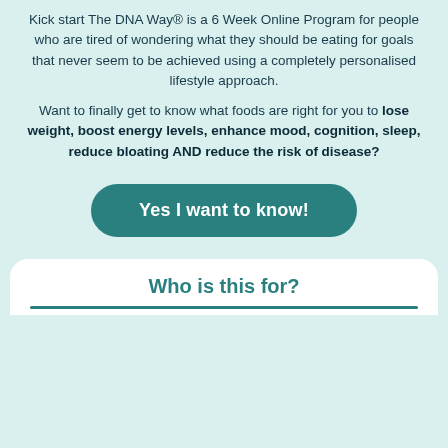Kick start The DNA Way® is a 6 Week Online Program for people who are tired of wondering what they should be eating for goals that never seem to be achieved using a completely personalised lifestyle approach.
Want to finally get to know what foods are right for you to lose weight, boost energy levels, enhance mood, cognition, sleep, reduce bloating AND reduce the risk of disease?
[Figure (other): Teal rounded rectangle button with white bold text reading 'Yes I want to know!']
Who is this for?